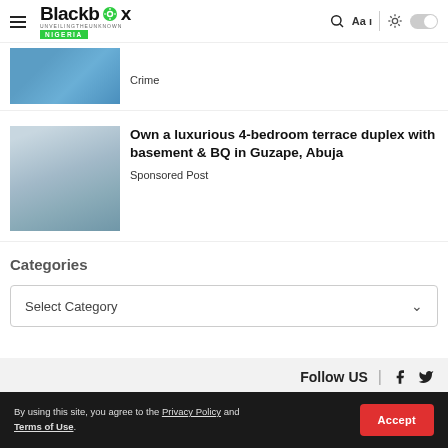Blackbox Nigeria - UNVEILINGTHEUNKNOWN
[Figure (photo): Cropped photo of person in blue uniform, partially visible]
Crime
[Figure (photo): Photo of a modern multi-story building, terrace duplex in Guzape Abuja]
Own a luxurious 4-bedroom terrace duplex with basement & BQ in Guzape, Abuja
Sponsored Post
Categories
Select Category
Follow US
By using this site, you agree to the Privacy Policy and Terms of Use.